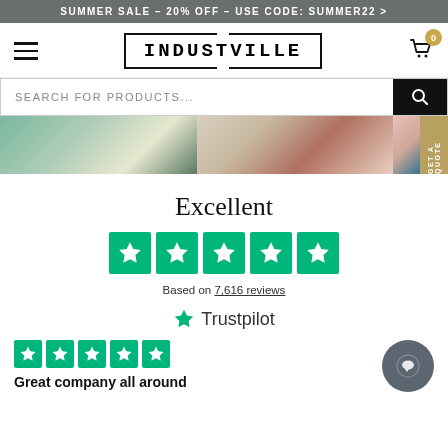SUMMER SALE – 20% OFF – USE CODE: SUMMER22 >
[Figure (screenshot): Navigation bar with hamburger menu, INDUSTVILLE logo in bordered box, and shopping cart icon with badge showing 0]
SEARCH FOR PRODUCTS...
[Figure (photo): Three product images showing interior/rug scenes]
Excellent
[Figure (infographic): Five green Trustpilot stars]
Based on 7,616 reviews
[Figure (logo): Trustpilot logo with green star and Trustpilot text]
[Figure (infographic): Four small green Trustpilot stars]
Great company all around